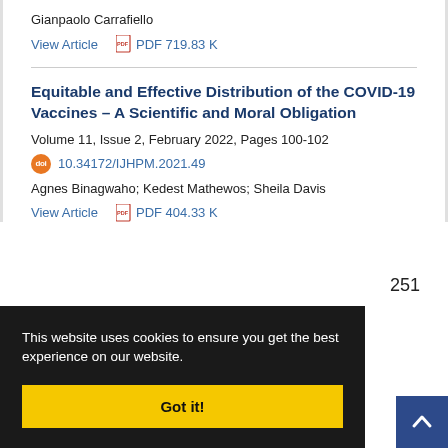Gianpaolo Carrafiello
View Article   PDF 719.83 K
Equitable and Effective Distribution of the COVID-19 Vaccines – A Scientific and Moral Obligation
Volume 11, Issue 2, February 2022, Pages 100-102
10.34172/IJHPM.2021.49
Agnes Binagwaho; Kedest Mathewos; Sheila Davis
View Article   PDF 404.33 K
This website uses cookies to ensure you get the best experience on our website.
Got it!